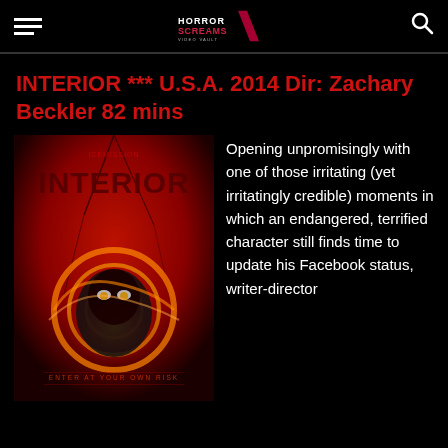Horror Screams Video Vault
INTERIOR *** U.S.A. 2014 Dir: Zachary Beckler 82 mins
[Figure (photo): Movie poster for INTERIOR (2014) - red background with distorted face, text reads 'INTERIOR - ENTER AT YOUR OWN RISK']
Opening unpromisingly with one of those irritating (yet irritatingly credible) moments in which an endangered, terrified character still finds time to update his Facebook status, writer-director